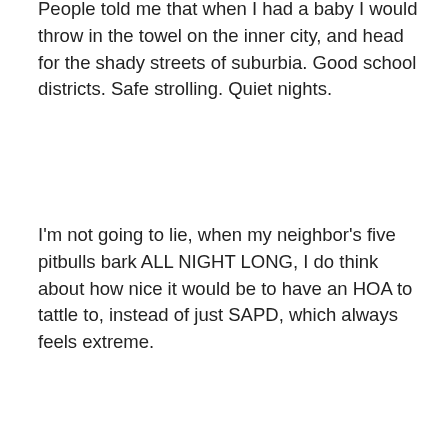People told me that when I had a baby I would throw in the towel on the inner city, and head for the shady streets of suburbia. Good school districts. Safe strolling. Quiet nights.
I'm not going to lie, when my neighbor's five pitbulls bark ALL NIGHT LONG, I do think about how nice it would be to have an HOA to tattle to, instead of just SAPD, which always feels extreme.
And yes, I have to stroll underneath 281 to get to our favorite walking path…but that walking path is the Museum Reach of the San Antonio River, and I can get there in 5 minutes on foot. We take this walk almost every day.
Plus, for my first Mother's Day, Lewis bought me a membership to the San Antonio Museum of Art, where